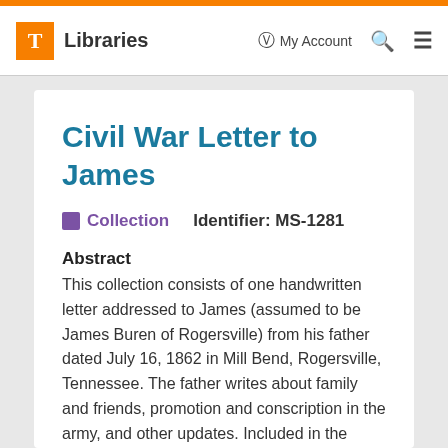T Libraries | My Account | Search | Menu
Civil War Letter to James
Collection  Identifier: MS-1281
Abstract
This collection consists of one handwritten letter addressed to James (assumed to be James Buren of Rogersville) from his father dated July 16, 1862 in Mill Bend, Rogersville, Tennessee. The father writes about family and friends, promotion and conscription in the army, and other updates. Included in the collection is